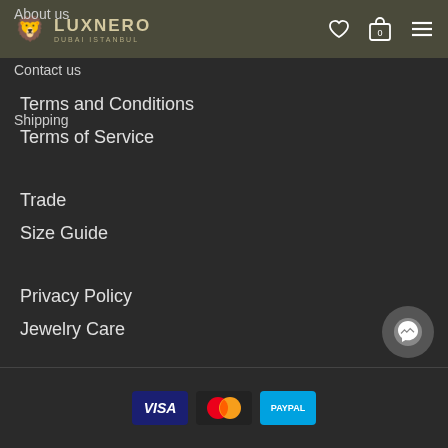LUXNERO DUBAI ISTANBUL
About us
Contact us
Shipping
Terms and Conditions
Terms of Service
Trade
Size Guide
Privacy Policy
Jewelry Care
[Figure (other): Payment method logos at footer: Visa, Mastercard, and another card provider]
[Figure (other): Facebook Messenger chat button in bottom right corner]